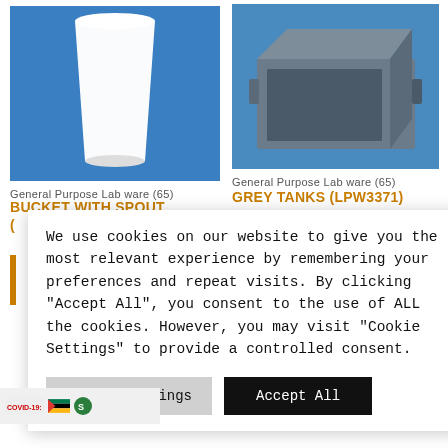[Figure (photo): White plastic cup/bucket on blue background]
[Figure (photo): Grey plastic tank/container on blue background]
General Purpose Lab ware (65)
BUCKET WITH SPOUT (
General Purpose Lab ware (65)
GREY TANKS (LPW3371)
iote
We use cookies on our website to give you the most relevant experience by remembering your preferences and repeat visits. By clicking "Accept All", you consent to the use of ALL the cookies. However, you may visit "Cookie Settings" to provide a controlled consent.
Cookie Settings
Accept All